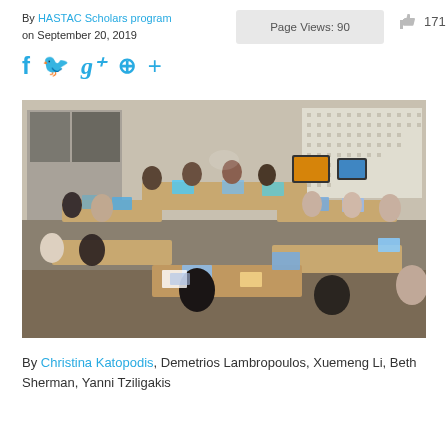By HASTAC Scholars program on September 20, 2019
Page Views: 90
171
[Figure (photo): Group of approximately 15 people seated around tables arranged in a U-shape in a modern office/classroom setting, most with laptops open, engaged in a meeting or seminar.]
By Christina Katopodis, Demetrios Lambropoulos, Xuemeng Li, Beth Sherman, Yanni Tziligakis